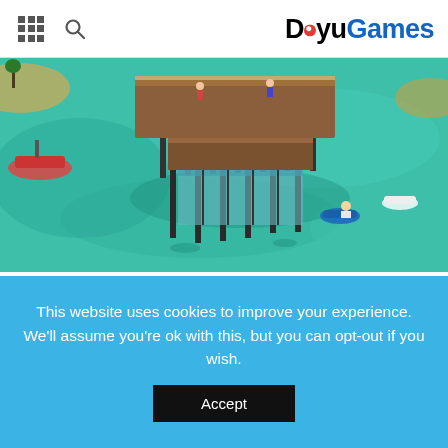DoyuGames
[Figure (screenshot): Aerial view of a waterfront game scene with a pier structure, turquoise water, boats, and tropical island elements — a sports/action video game screenshot]
Sports game
Even if the vast majority of this genre can also be considered as simulation games, we thought it correct to have a whole entity to itself. Sports games allow players to compete with the machine or real-life players and also compete against them. A great example of
This website uses cookies to improve your experience. We'll assume you're ok with this, but you can opt-out if you wish.